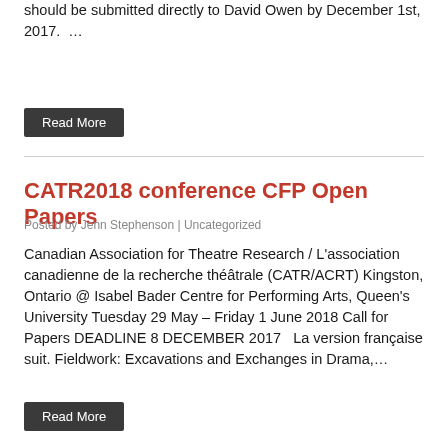should be submitted directly to David Owen by December 1st, 2017.  …
Read More
CATR2018 conference CFP Open Papers
Posted by Jenn Stephenson | Uncategorized
Canadian Association for Theatre Research / L'association canadienne de la recherche théâtrale (CATR/ACRT) Kingston, Ontario @ Isabel Bader Centre for Performing Arts, Queen's University Tuesday 29 May – Friday 1 June 2018 Call for Papers DEADLINE 8 DECEMBER 2017   La version française suit. Fieldwork: Excavations and Exchanges in Drama,…
Read More